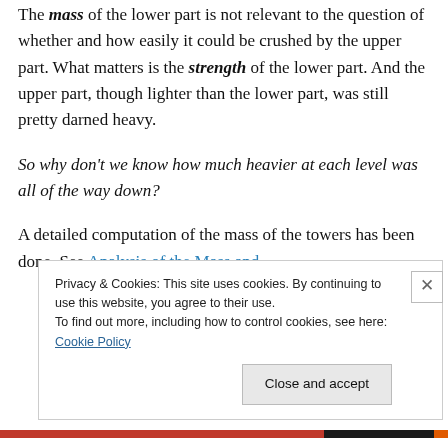The mass of the lower part is not relevant to the question of whether and how easily it could be crushed by the upper part. What matters is the strength of the lower part. And the upper part, though lighter than the lower part, was still pretty darned heavy.
So why don't we know how much heavier at each level was all of the way down?
A detailed computation of the mass of the towers has been done. See Analysis of the Mass and
Privacy & Cookies: This site uses cookies. By continuing to use this website, you agree to their use.
To find out more, including how to control cookies, see here: Cookie Policy